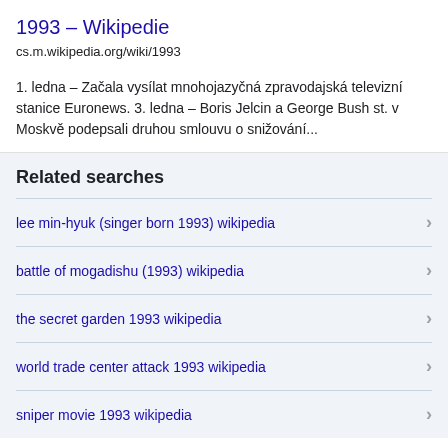1993 – Wikipedie
cs.m.wikipedia.org/wiki/1993
1. ledna – Začala vysílat mnohojazyčná zpravodajská televizní stanice Euronews. 3. ledna – Boris Jelcin a George Bush st. v Moskvě podepsali druhou smlouvu o snižování...
Related searches
lee min-hyuk (singer born 1993) wikipedia
battle of mogadishu (1993) wikipedia
the secret garden 1993 wikipedia
world trade center attack 1993 wikipedia
sniper movie 1993 wikipedia